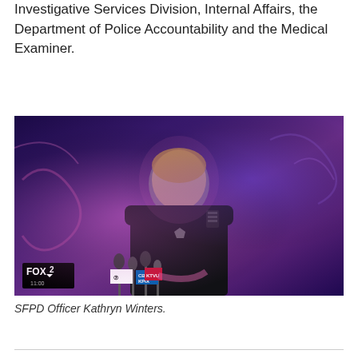Investigative Services Division, Internal Affairs, the Department of Police Accountability and the Medical Examiner.
[Figure (photo): SFPD Officer Kathryn Winters speaking at a press conference at night, surrounded by microphones from various news stations including FOX2, ABC7, and KPIX5. She is wearing a dark police uniform with badge and radio. The background shows colorful graffiti artwork lit in purple/blue tones.]
SFPD Officer Kathryn Winters.